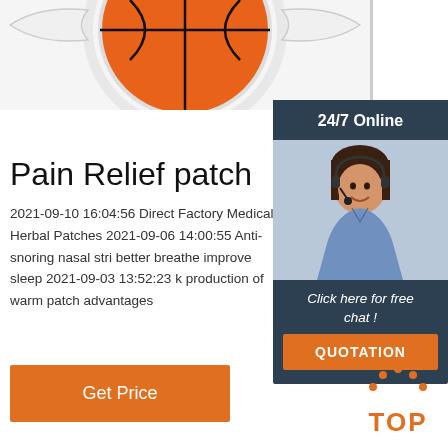[Figure (photo): Basketball embroidered patch product image at top of page]
[Figure (photo): 24/7 Online customer service panel with woman wearing headset, click here for free chat, and QUOTATION button]
Pain Relief patch
2021-09-10 16:04:56 Direct Factory Medical Herbal Patches 2021-09-06 14:00:55 Anti-snoring nasal stri better breathe improve sleep 2021-09-03 13:52:23 k production of warm patch advantages
Get Price
[Figure (illustration): Orange TOP back-to-top button icon with dots forming an arch above the letters TOP]